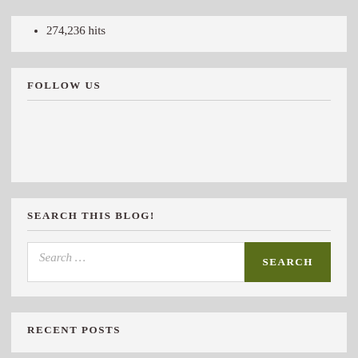274,236 hits
FOLLOW US
SEARCH THIS BLOG!
Search ...
RECENT POSTS